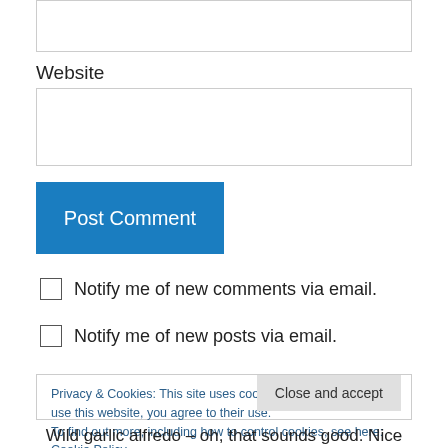Website
Post Comment
Notify me of new comments via email.
Notify me of new posts via email.
Privacy & Cookies: This site uses cookies. By continuing to use this website, you agree to their use.
To find out more, including how to control cookies, see here: Cookie Policy
Close and accept
Wild garlic alfredo – oh, that sounds good. Nice